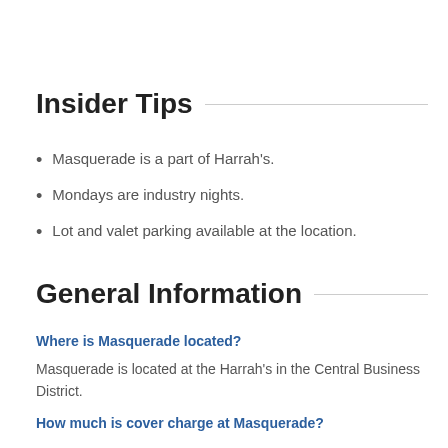Insider Tips
Masquerade is a part of Harrah's.
Mondays are industry nights.
Lot and valet parking available at the location.
General Information
Where is Masquerade located?
Masquerade is located at the Harrah's in the Central Business District.
How much is cover charge at Masquerade?